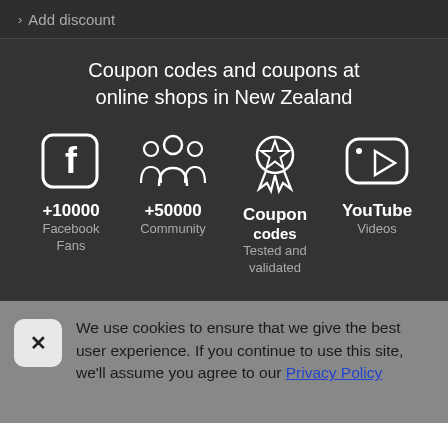> Add discount
Coupon codes and coupons at online shops in New Zealand
[Figure (infographic): Four icon columns: Facebook (f logo in rounded square), Community (group of people icons), Coupon codes (star medal/ribbon icon), YouTube Videos (i with play button icon). Below each icon: +10000 Facebook Fans, +50000 Community, Coupon codes Tested and validated, YouTube Videos.]
We use cookies to ensure that we give the best user experience. If you continue to use this site, we'll assume you agree to our Privacy Policy